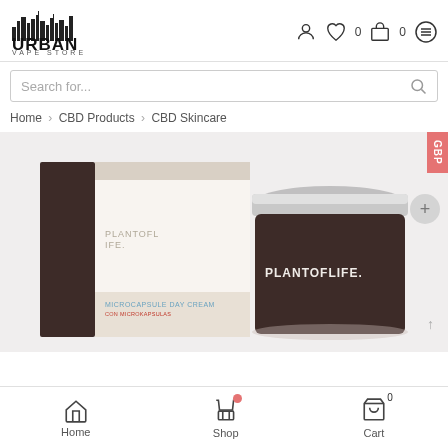[Figure (logo): Urban Vape Store logo with city skyline silhouette above bold text URBAN and subtitle VAPE STORE]
[Figure (screenshot): Header icons: user profile, heart/wishlist with count 0, shopping bag with count 0, and hamburger menu]
Search for...
Home > CBD Products > CBD Skincare
[Figure (photo): Product photo showing PLANTOFLIFE Microcapsule Day Cream box and jar with silver lid on white background]
GBP
Home
Shop
Cart